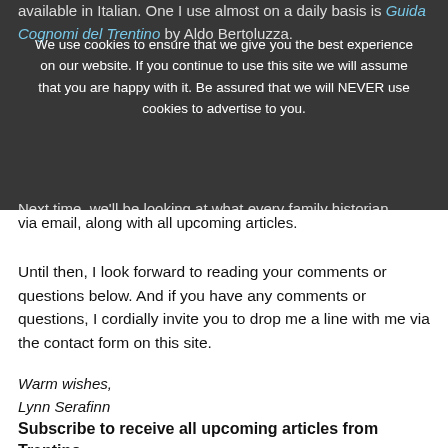available in Italian. One I use almost on a daily basis is Guida Cognomi del Trentino by Aldo Bertoluzza.
We use cookies to ensure that we give you the best experience on our website. If you continue to use this site we will assume that you are happy with it. Be assured that we will NEVER use cookies to advertise to you.
OK
READ MORE ON OUR PRIVACY POLICY PAGE.
Next time, we'll be looking at what every family historian needs to know about our ancestors' first and middle names. If you subscribe to Trentino Genealogy at the top-right corner of any article via email, along with all upcoming articles.
Until then, I look forward to reading your comments or questions below. And if you have any comments or questions, I cordially invite you to drop me a line with me via the contact form on this site.
Warm wishes,
Lynn Serafinn
Subscribe to receive all upcoming articles from Trentino